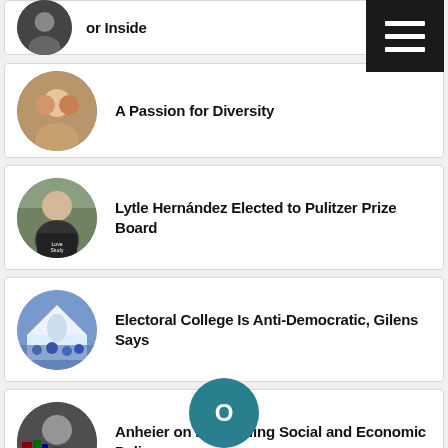or Inside
A Passion for Diversity
Lytle Hernández Elected to Pulitzer Prize Board
Electoral College Is Anti-Democratic, Gilens Says
Anheier on Recoupling Social and Economic Policy